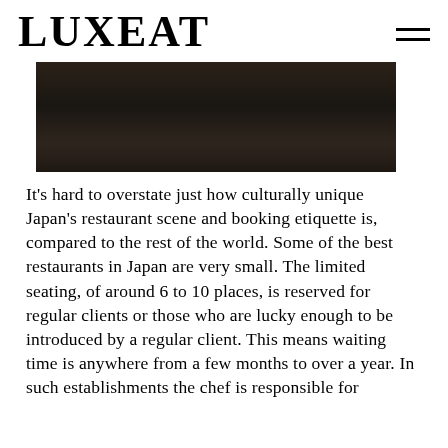LUXEAT
[Figure (photo): Dark moody photograph of a Japanese restaurant setting, dimly lit with dark tones]
It’s hard to overstate just how culturally unique Japan’s restaurant scene and booking etiquette is, compared to the rest of the world. Some of the best restaurants in Japan are very small. The limited seating, of around 6 to 10 places, is reserved for regular clients or those who are lucky enough to be introduced by a regular client. This means waiting time is anywhere from a few months to over a year. In such establishments the chef is responsible for